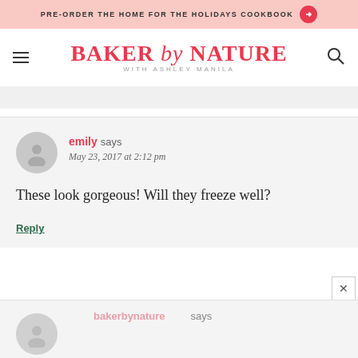PRE-ORDER THE HOME FOR THE HOLIDAYS COOKBOOK →
BAKER by NATURE WITH ASHLEY MANILA
emily says
May 23, 2017 at 2:12 pm

These look gorgeous! Will they freeze well?

Reply
bakerbynature says